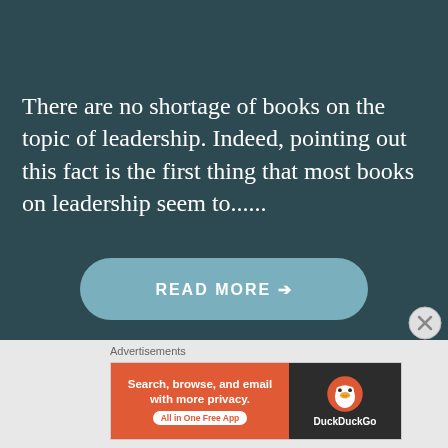There are no shortage of books on the topic of leadership. Indeed, pointing out this fact is the first thing that most books on leadership seem to......
READ MORE →
Advertisements
[Figure (other): DuckDuckGo advertisement banner: 'Search, browse, and email with more privacy. All in One Free App' on orange background with DuckDuckGo logo on dark background]